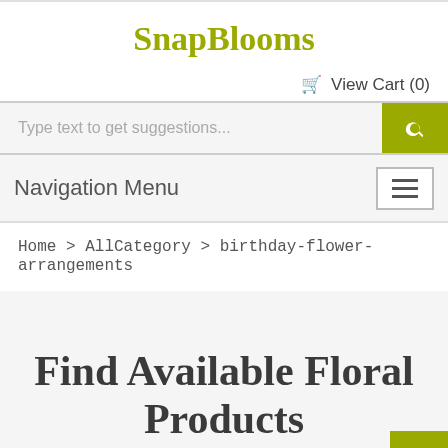SnapBlooms
🛒 View Cart (0)
Type text to get suggestions...
Navigation Menu
Home > AllCategory > birthday-flower-arrangements
Find Available Floral Products